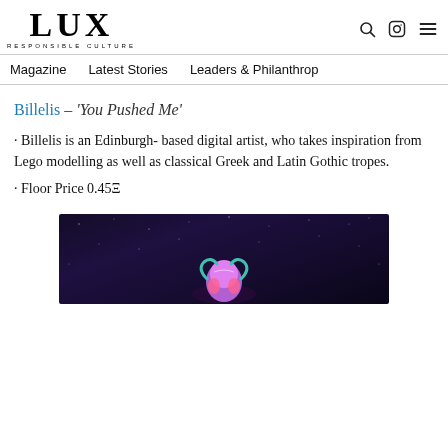LUX RESPONSIBLE CULTURE
Magazine  Latest Stories  Leaders & Philanthrop
Billelis – 'You Pushed Me'
· Billelis is an Edinburgh- based digital artist, who takes inspiration from Lego modelling as well as classical Greek and Latin Gothic tropes.
· Floor Price 0.45Ξ
[Figure (photo): Dark space/galaxy background with a colorful digital sculpture/figure by Billelis at the bottom center]